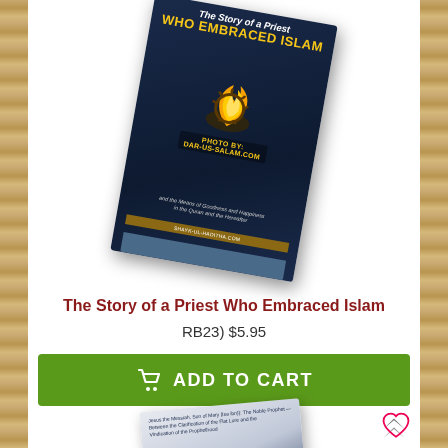[Figure (photo): Book cover: The Story of a Priest Who Embraced Islam, dark blue cover with flame image and 'PHOTO BY: DAR-US-SALAM.COM' watermark, shown at an angle]
The Story of a Priest Who Embraced Islam
RB23) $5.95
[Figure (other): Green ADD TO CART button with shopping cart icon]
[Figure (other): Scroll-up chevron arrow icon]
[Figure (photo): Second book cover partially visible at bottom, white/blue cover with city skyline, shown at slight angle, with heart/wishlist icon]
[Figure (other): Heart (wishlist) icon in red/pink outline]